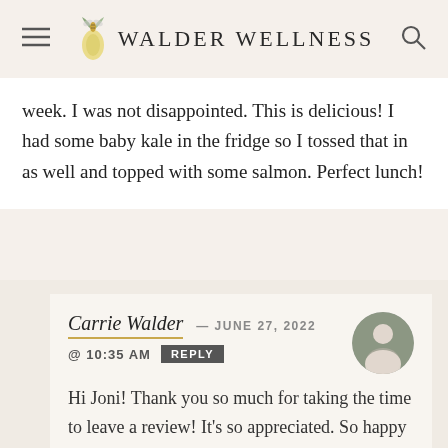Walder Wellness
week. I was not disappointed. This is delicious! I had some baby kale in the fridge so I tossed that in as well and topped with some salmon. Perfect lunch!
Carrie Walder — JUNE 27, 2022 @ 10:35 AM REPLY
Hi Joni! Thank you so much for taking the time to leave a review! It's so appreciated. So happy to hear you enjoyed this one — perfect way to use up all that asparagus on sale :). Love the